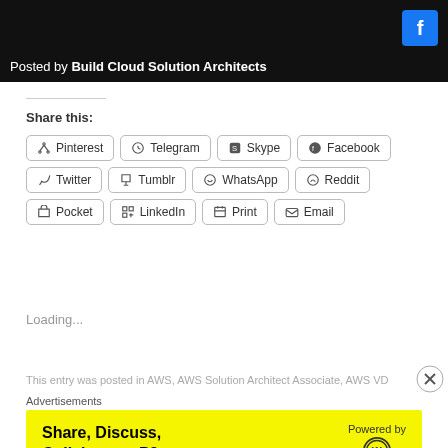[Figure (screenshot): Top banner showing 'Posted by Build Cloud Solution Architects' with Facebook icon on dark background]
Share this:
[Figure (infographic): Social share buttons grid: Pinterest, Telegram, Skype, Facebook, Twitter, Tumblr, WhatsApp, Reddit, Pocket, LinkedIn, Print, Email]
Loading...
This entry was posted in AWS, AWS Solution Architect Associate, AWS VD...
Advertisements
[Figure (screenshot): Advertisement banner: Share, Discuss, Collaborate, P2. Powered by WordPress icon on yellow background]